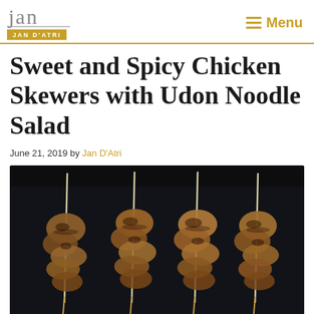JAN D'ATRI | Menu
Sweet and Spicy Chicken Skewers with Udon Noodle Salad
June 21, 2019 by Jan D'Atri
[Figure (photo): Four chicken skewers with glossy sweet and spicy glaze arranged on a dark baking pan, photographed from above against a black background.]